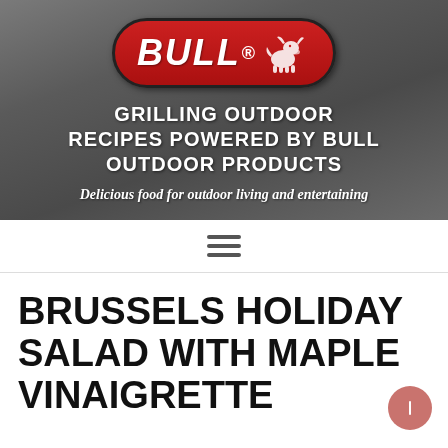[Figure (logo): Bull Outdoor Products logo — red oval badge with BULL text and bull silhouette, on metallic grey background with grilling recipes tagline]
BRUSSELS HOLIDAY SALAD WITH MAPLE VINAIGRETTE